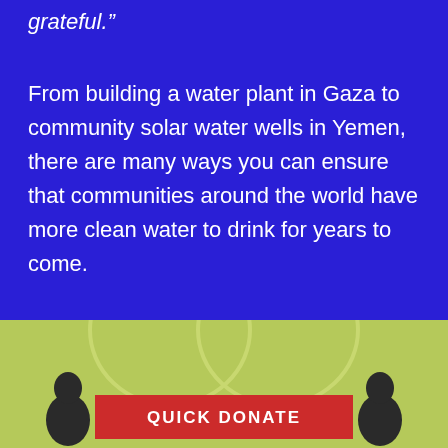grateful.”
From building a water plant in Gaza to community solar water wells in Yemen, there are many ways you can ensure that communities around the world have more clean water to drink for years to come.
[Figure (infographic): Green section with arc/handle shape outlines, two dark silhouettes of people at the bottom left and right, and a red QUICK DONATE button in the center.]